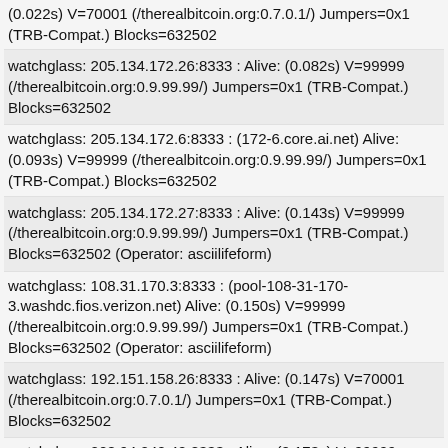(0.022s) V=70001 (/therealbitcoin.org:0.7.0.1/) Jumpers=0x1 (TRB-Compat.) Blocks=632502
watchglass: 205.134.172.26:8333 : Alive: (0.082s) V=99999 (/therealbitcoin.org:0.9.99.99/) Jumpers=0x1 (TRB-Compat.) Blocks=632502
watchglass: 205.134.172.6:8333 : (172-6.core.ai.net) Alive: (0.093s) V=99999 (/therealbitcoin.org:0.9.99.99/) Jumpers=0x1 (TRB-Compat.) Blocks=632502
watchglass: 205.134.172.27:8333 : Alive: (0.143s) V=99999 (/therealbitcoin.org:0.9.99.99/) Jumpers=0x1 (TRB-Compat.) Blocks=632502 (Operator: asciilifeform)
watchglass: 108.31.170.3:8333 : (pool-108-31-170-3.washdc.fios.verizon.net) Alive: (0.150s) V=99999 (/therealbitcoin.org:0.9.99.99/) Jumpers=0x1 (TRB-Compat.) Blocks=632502 (Operator: asciilifeform)
watchglass: 192.151.158.26:8333 : Alive: (0.147s) V=70001 (/therealbitcoin.org:0.7.0.1/) Jumpers=0x1 (TRB-Compat.) Blocks=632502
watchglass: 208.94.240.42:8333 : Alive: (0.173s) V=99999 (/therealbitcoin.org:0.9.99.99/) Jumpers=0x1 (TRB-Compat.) Blocks=632502
watchglass: 143.202.160.10:8333 : Alive: (0.236s) V=70001 (/therealbitcoin.org:0.7.0.1/) Jumpers=0x1 (TRB-Compat.) Blocks=632502
watchglass: 213.109.238.156:8333 : Alive: (0.342s) V=99999 (/therealbitcoin.org:0.9.99.99/) Jumpers=0x1 (TRB-Compat.)